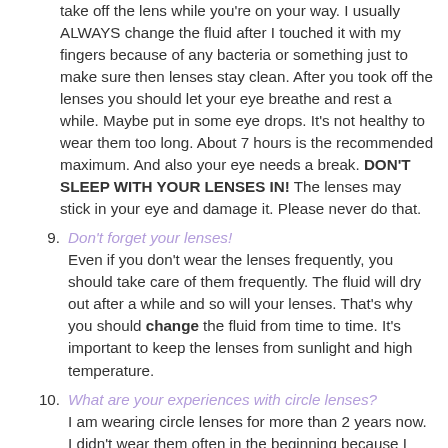take off the lens while you're on your way. I usually ALWAYS change the fluid after I touched it with my fingers because of any bacteria or something just to make sure then lenses stay clean. After you took off the lenses you should let your eye breathe and rest a while. Maybe put in some eye drops. It's not healthy to wear them too long. About 7 hours is the recommended maximum. And also your eye needs a break. DON'T SLEEP WITH YOUR LENSES IN! The lenses may stick in your eye and damage it. Please never do that.
9. Don't forget your lenses!
Even if you don't wear the lenses frequently, you should take care of them frequently. The fluid will dry out after a while and so will your lenses. That's why you should change the fluid from time to time. It's important to keep the lenses from sunlight and high temperature.
10. What are your experiences with circle lenses?
I am wearing circle lenses for more than 2 years now. I didn't wear them often in the beginning because I wasn't used to it and I had problems with putting them in. Also it's not really common in germany to wear contacts like these and people were staring at me. I didn't feel comfortable since also my ex boyfriend said I look really ugly with them. But now he isn't anymore so let's wear all the lenses!! (≧▽≦) lol. Just kidding. I decided not to care about others